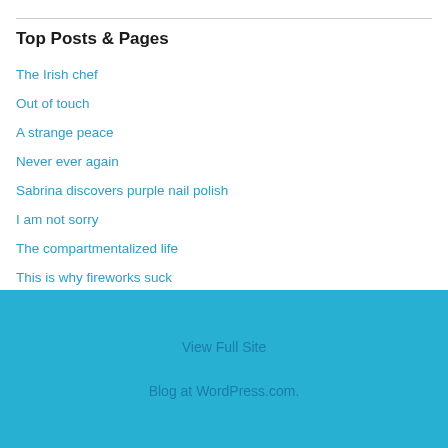Top Posts & Pages
The Irish chef
Out of touch
A strange peace
Never ever again
Sabrina discovers purple nail polish
I am not sorry
The compartmentalized life
This is why fireworks suck
View Full Site
Blog at WordPress.com.